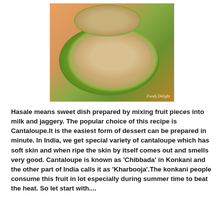[Figure (photo): A food photo showing cantaloupe melon halves used as bowls filled with a creamy sweet dish (Hasale), garnished with nuts, served on a green plate. Watermark reads 'Foody Delight'.]
Hasale means sweet dish prepared by mixing fruit pieces into milk and jaggery. The popular choice of this recipe is Cantaloupe.It is the easiest form of dessert can be prepared in minute. In India, we get special variety of cantaloupe which has soft skin and when ripe the skin by itself comes out and smells very good. Cantaloupe is known as 'Chibbada' in Konkani and the other part of India calls it as 'Kharbooja'.The konkani people consume this fruit in lot especially during summer time to beat the heat. So let start with....